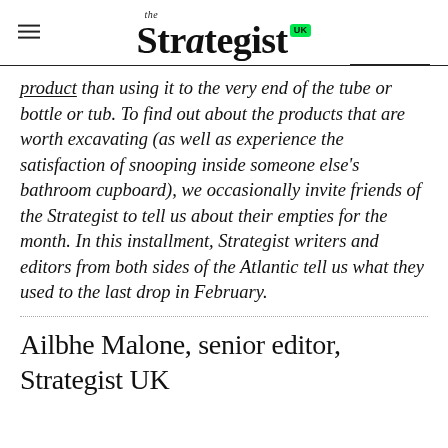the Strategist UK
product than using it to the very end of the tube or bottle or tub. To find out about the products that are worth excavating (as well as experience the satisfaction of snooping inside someone else's bathroom cupboard), we occasionally invite friends of the Strategist to tell us about their empties for the month. In this installment, Strategist writers and editors from both sides of the Atlantic tell us what they used to the last drop in February.
Ailbhe Malone, senior editor, Strategist UK